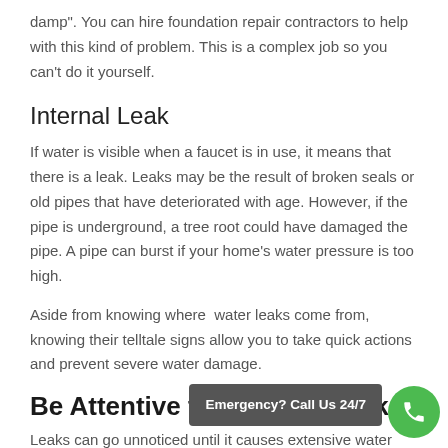damp". You can hire foundation repair contractors to help with this kind of problem. This is a complex job so you can't do it yourself.
Internal Leak
If water is visible when a faucet is in use, it means that there is a leak. Leaks may be the result of broken seals or old pipes that have deteriorated with age. However, if the pipe is underground, a tree root could have damaged the pipe. A pipe can burst if your home's water pressure is too high.
Aside from knowing where  water leaks come from, knowing their telltale signs allow you to take quick actions and prevent severe water damage.
Be Attentive to Signs of Leaks
Leaks can go unnoticed until it causes extensive water da...
Even if your water meter indicates that there's no leak, it's still